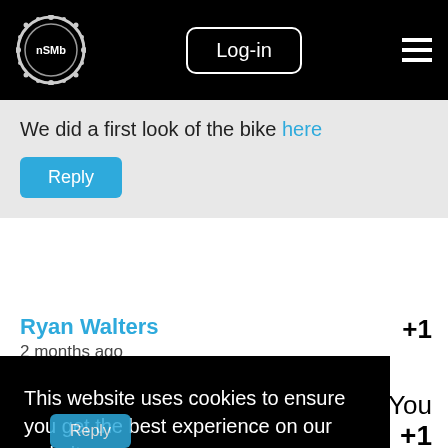nSMb logo | Log-in | menu
We did a first look of the bike here
Reply
Ryan Walters
2 months ago
+1
This website uses cookies to ensure you get the best experience on our website.
Learn more
Got it!